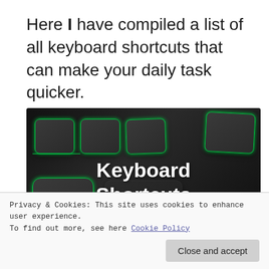Here I have compiled a list of all keyboard shortcuts that can make your daily task quicker.
[Figure (photo): Close-up photo of a dark keyboard with green-lit keys and 'Keyboard Shortcuts' text overlaid in white bold font]
Privacy & Cookies: This site uses cookies to enhance user experience. To find out more, see here Cookie Policy
List of basic Computer